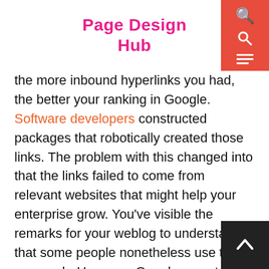Page Design Hub
the more inbound hyperlinks you had, the better your ranking in Google. Software developers constructed packages that robotically created those links. The problem with this changed into that the links failed to come from relevant websites that might help your enterprise grow. You've visible the remarks for your weblog to understand that some people nonetheless use this approach. However, Google rewrote their applications so that inbound links, while nevertheless vital, are not the be-all and end all of search engine marketing.
Tip 5
Carefully studies your key phrases and bring together listing of related search terms. It is recommended which you pick out 1 key-word/phrase, after which build around it a